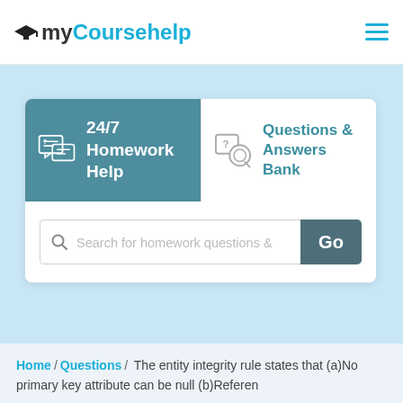myCoursehelp
[Figure (screenshot): Navigation card with two tabs: '24/7 Homework Help' (active, dark teal background) and 'Questions & Answers Bank' (white background with teal text), plus a search bar with 'Search for homework questions &' placeholder and a 'Go' button]
Home / Questions / The entity integrity rule states that (a)No primary key attribute can be null (b)Referen